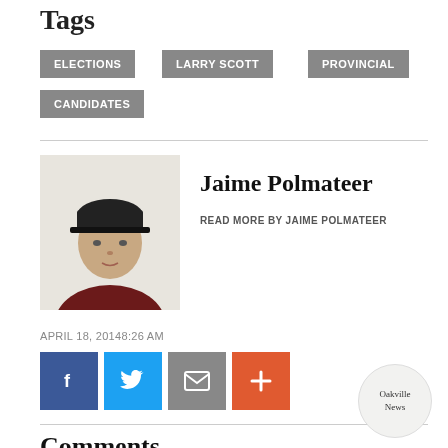Tags
ELECTIONS
LARRY SCOTT
PROVINCIAL
CANDIDATES
[Figure (photo): Headshot photo of Jaime Polmateer, a young man wearing a dark red shirt and black cap]
Jaime Polmateer
READ MORE BY JAIME POLMATEER
APRIL 18, 20148:26 AM
[Figure (infographic): Social share buttons: Facebook, Twitter, Email, and More (+)]
Comments
[Figure (logo): Oakville News circular logo badge]